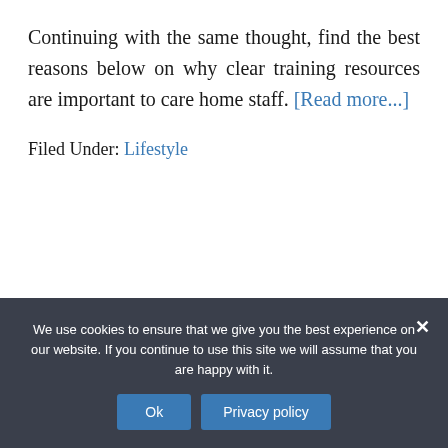Continuing with the same thought, find the best reasons below on why clear training resources are important to care home staff. [Read more...]
Filed Under: Lifestyle
We use cookies to ensure that we give you the best experience on our website. If you continue to use this site we will assume that you are happy with it. Ok  Privacy policy